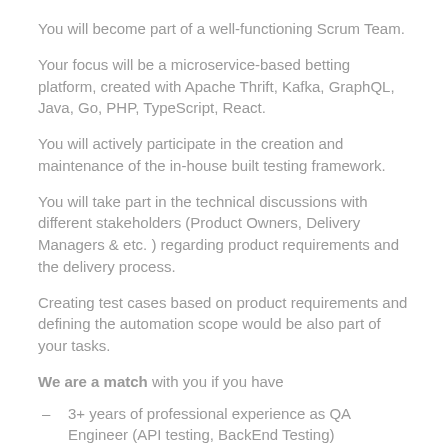You will become part of a well-functioning Scrum Team.
Your focus will be a microservice-based betting platform, created with Apache Thrift, Kafka, GraphQL, Java, Go, PHP, TypeScript, React.
You will actively participate in the creation and maintenance of the in-house built testing framework.
You will take part in the technical discussions with different stakeholders (Product Owners, Delivery Managers & etc. ) regarding product requirements and the delivery process.
Creating test cases based on product requirements and defining the automation scope would be also part of your tasks.
We are a match with you if you have
3+ years of professional experience as QA Engineer (API testing, BackEnd Testing)
At least 2 years of experience with test automation (